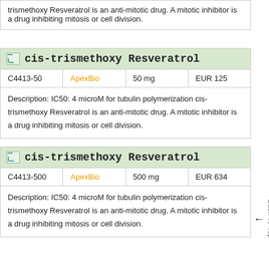trismethoxy Resveratrol is an anti-mitotic drug. A mitotic inhibitor is a drug inhibiting mitosis or cell division.
cis-trismethoxy Resveratrol
| C4413-50 | ApexBio | 50 mg | EUR 125 |
| --- | --- | --- | --- |
Description: IC50: 4 microM for tubulin polymerization cis-trismethoxy Resveratrol is an anti-mitotic drug. A mitotic inhibitor is a drug inhibiting mitosis or cell division.
cis-trismethoxy Resveratrol
| C4413-500 | ApexBio | 500 mg | EUR 634 |
| --- | --- | --- | --- |
Description: IC50: 4 microM for tubulin polymerization cis-trismethoxy Resveratrol is an anti-mitotic drug. A mitotic inhibitor is a drug inhibiting mitosis or cell division.